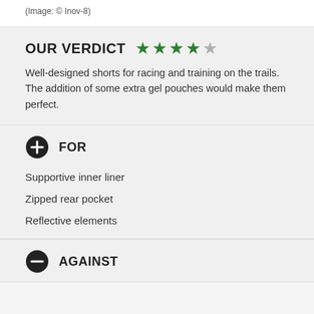(Image: © Inov-8)
OUR VERDICT ★★★★☆
Well-designed shorts for racing and training on the trails. The addition of some extra gel pouches would make them perfect.
⊕ FOR
Supportive inner liner
Zipped rear pocket
Reflective elements
⊖ AGAINST